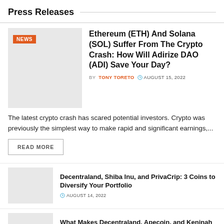Press Releases
Ethereum (ETH) And Solana (SOL) Suffer From The Crypto Crash: How Will Adirize DAO (ADI) Save Your Day?
BY TONY TORETO  AUGUST 15, 2022
The latest crypto crash has scared potential investors. Crypto was previously the simplest way to make rapid and significant earnings,...
READ MORE
Decentraland, Shiba Inu, and PrivaCrip: 3 Coins to Diversify Your Portfolio
AUGUST 14, 2022
What Makes Decentraland, Apecoin, and Keninah Concord Thrive in The Coin Market?
AUGUST 13, 2022